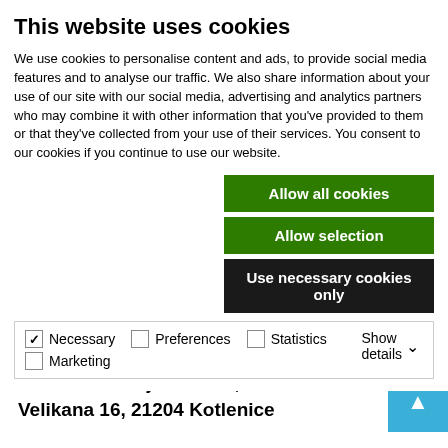This website uses cookies
We use cookies to personalise content and ads, to provide social media features and to analyse our traffic. We also share information about your use of our site with our social media, advertising and analytics partners who may combine it with other information that you've provided to them or that they've collected from your use of their services. You consent to our cookies if you continue to use our website.
Allow all cookies
Allow selection
Use necessary cookies only
Necessary  Preferences  Statistics  Marketing  Show details
June, July and August – 9-20h
From November to March – only by appointment
Address: Vranjača Cave, Hrvatskih Velikana 16, 21204 Kotlenice